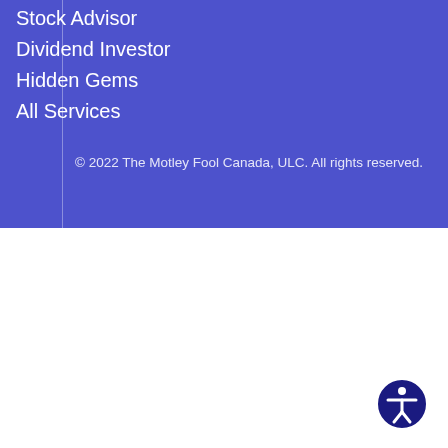Stock Advisor
Dividend Investor
Hidden Gems
All Services
© 2022 The Motley Fool Canada, ULC. All rights reserved.
[Figure (illustration): Accessibility icon: blue circle with white human figure symbol]